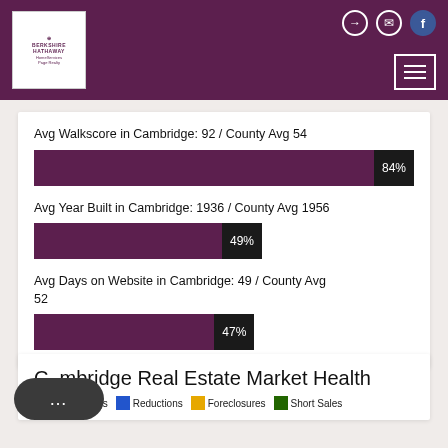Berkshire Hathaway HomeServices Page Realty
Avg Walkscore in Cambridge: 92 / County Avg 54
[Figure (bar-chart): Avg Walkscore]
Avg Year Built in Cambridge: 1936 / County Avg 1956
[Figure (bar-chart): Avg Year Built]
Avg Days on Website in Cambridge: 49 / County Avg 52
[Figure (bar-chart): Avg Days on Website]
Cambridge Real Estate Market Health
New Listings  Reductions  Foreclosures  Short Sales